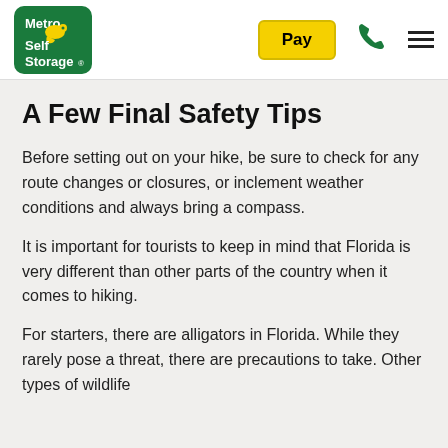[Figure (logo): Metro Self Storage logo — green rounded square with white bold text 'Metro Self Storage' and a yellow duck/key icon]
A Few Final Safety Tips
Before setting out on your hike, be sure to check for any route changes or closures, or inclement weather conditions and always bring a compass.
It is important for tourists to keep in mind that Florida is very different than other parts of the country when it comes to hiking.
For starters, there are alligators in Florida. While they rarely pose a threat, there are precautions to take. Other types of wildlife